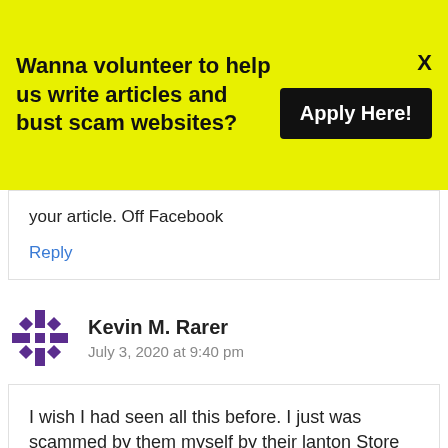Wanna volunteer to help us write articles and bust scam websites?
Apply Here!
your article. Off Facebook
Reply
Kevin M. Rarer
July 3, 2020 at 9:40 pm
I wish I had seen all this before. I just was scammed by them myself by their lanton Store posting on